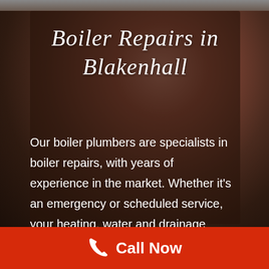[Figure (photo): Dark blurred background photo of a boiler/plumbing equipment with warm reddish-brown tones, overlaid with a semi-transparent dark card panel]
Boiler Repairs in Blakenhall
Our boiler plumbers are specialists in boiler repairs, with years of experience in the market. Whether it's an emergency or scheduled service, your heating, water and drainage services get the same specialist attention on
Call Now